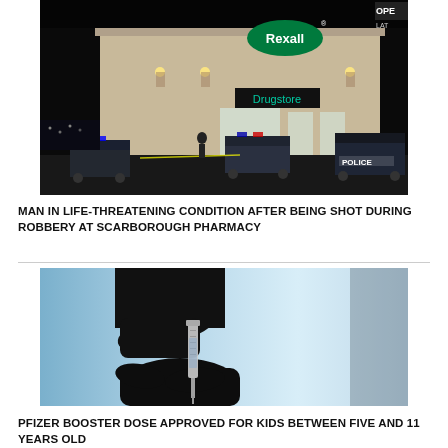[Figure (photo): Nighttime exterior of a Rexall Drugstore with police cars in the parking lot, crime scene tape visible]
MAN IN LIFE-THREATENING CONDITION AFTER BEING SHOT DURING ROBBERY AT SCARBOROUGH PHARMACY
[Figure (photo): Silhouette of gloved hands holding a syringe/vaccine needle against a light blue background]
PFIZER BOOSTER DOSE APPROVED FOR KIDS BETWEEN FIVE AND 11 YEARS OLD